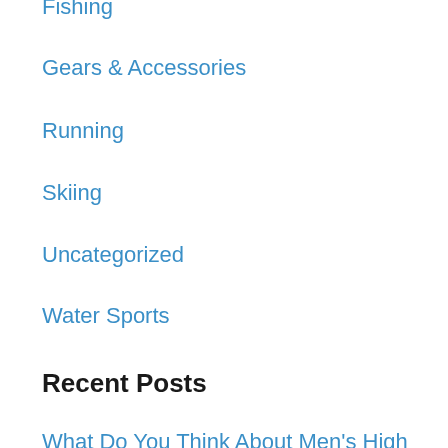Fishing
Gears & Accessories
Running
Skiing
Uncategorized
Water Sports
Recent Posts
What Do You Think About Men's High Boots?
What Could Cause a Fitbit to Suddenly Stop Tracking Sleep
The North Face Conspiracy: Why You Never